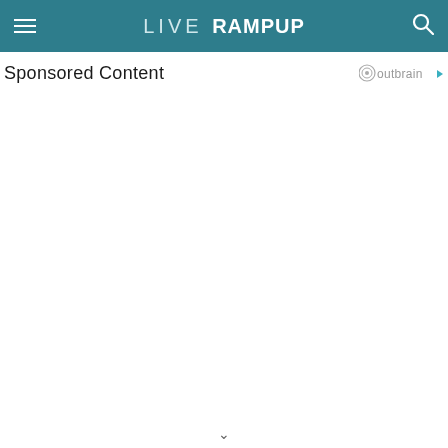LIVE RAMPUP
Sponsored Content
[Figure (logo): Outbrain logo with circular icon and play button arrow]